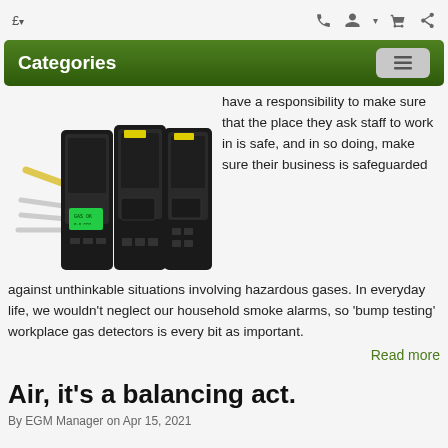£ ▾
Categories
[Figure (photo): Three black industrial gas detector devices stacked side-by-side with cables attached, one showing a green LCD display.]
have a responsibility to make sure that the place they ask staff to work in is safe, and in so doing, make sure their business is safeguarded against unthinkable situations involving hazardous gases. In everyday life, we wouldn't neglect our household smoke alarms, so 'bump testing' workplace gas detectors is every bit as important.
Read more
Air, it's a balancing act.
By EGM Manager on Apr 15, 2021